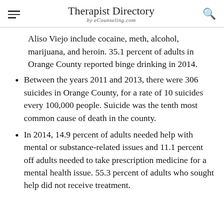Therapist Directory by eCounseling.com
Aliso Viejo include cocaine, meth, alcohol, marijuana, and heroin. 35.1 percent of adults in Orange County reported binge drinking in 2014.
Between the years 2011 and 2013, there were 306 suicides in Orange County, for a rate of 10 suicides every 100,000 people. Suicide was the tenth most common cause of death in the county.
In 2014, 14.9 percent of adults needed help with mental or substance-related issues and 11.1 percent off adults needed to take prescription medicine for a mental health issue. 55.3 percent of adults who sought help did not receive treatment.